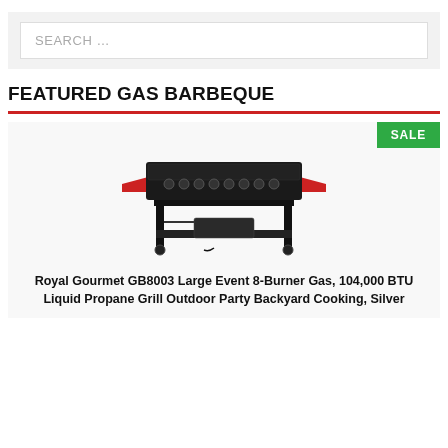[Figure (screenshot): Search input box with placeholder text 'SEARCH ...' on a light grey background]
FEATURED GAS BARBEQUE
[Figure (photo): Royal Gourmet GB8003 large event 8-burner gas grill, black with red side shelves]
Royal Gourmet GB8003 Large Event 8-Burner Gas, 104,000 BTU Liquid Propane Grill Outdoor Party Backyard Cooking, Silver